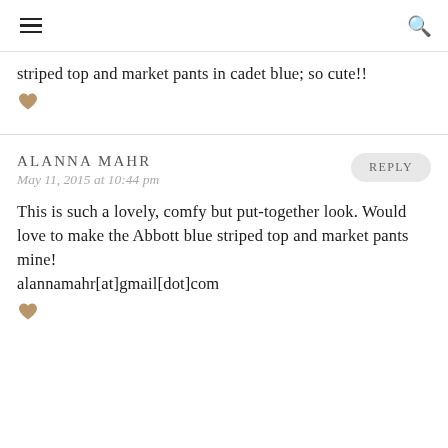striped top and market pants in cadet blue; so cute!!
ALANNA MAHR
May 11, 2015 at 10:44 pm
This is such a lovely, comfy but put-together look. Would love to make the Abbott blue striped top and market pants mine!
alannamahr[at]gmail[dot]com